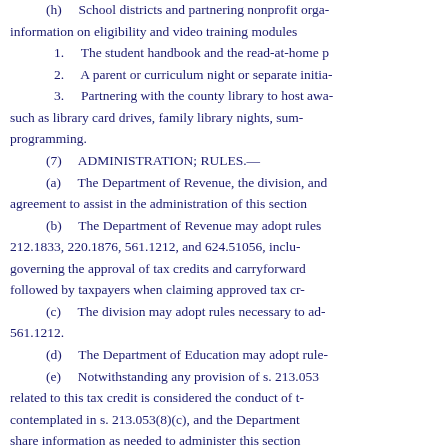(h)    School districts and partnering nonprofit organizations may provide information on eligibility and video training modules
1.    The student handbook and the read-at-home p
2.    A parent or curriculum night or separate initia
3.    Partnering with the county library to host awa such as library card drives, family library nights, sum programming.
(7)    ADMINISTRATION; RULES.—
(a)    The Department of Revenue, the division, and agreement to assist in the administration of this section
(b)    The Department of Revenue may adopt rules 212.1833, 220.1876, 561.1212, and 624.51056, including governing the approval of tax credits and carryforward followed by taxpayers when claiming approved tax cr
(c)    The division may adopt rules necessary to ad 561.1212.
(d)    The Department of Education may adopt rule
(e)    Notwithstanding any provision of s. 213.053 related to this tax credit is considered the conduct of contemplated in s. 213.053(8)(c), and the Department share information as needed to administer this section
History.—s. 10, ch. 2021-193; s. 37, ch. 2022-97; s. 29, ch. 2
1Note.— Section 12, ch. 2021-193, provides that "[t]he Depa